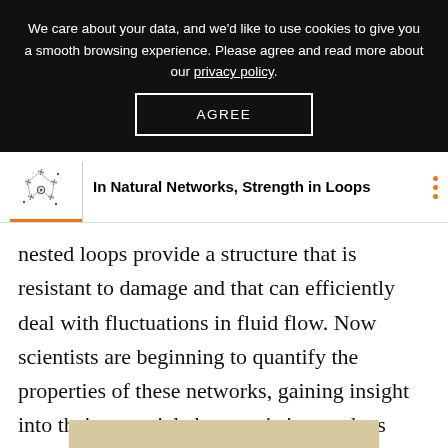We care about your data, and we'd like to use cookies to give you a smooth browsing experience. Please agree and read more about our privacy policy.
AGREE
In Natural Networks, Strength in Loops
nested loops provide a structure that is resistant to damage and that can efficiently deal with fluctuations in fluid flow. Now scientists are beginning to quantify the properties of these networks, gaining insight into their essential characteristics, such as resilience, and allowing for more informative comparisons between networks.
[Figure (photo): Bottom edge of a tan/beige textured image, partially visible at the bottom of the page.]